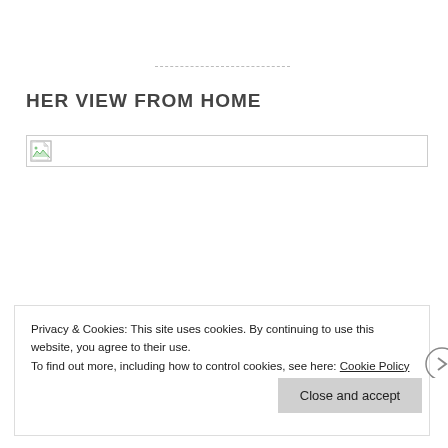HER VIEW FROM HOME
[Figure (photo): Broken/placeholder image thumbnail with small icon in top-left corner, wide banner style]
Privacy & Cookies: This site uses cookies. By continuing to use this website, you agree to their use.
To find out more, including how to control cookies, see here: Cookie Policy
Close and accept